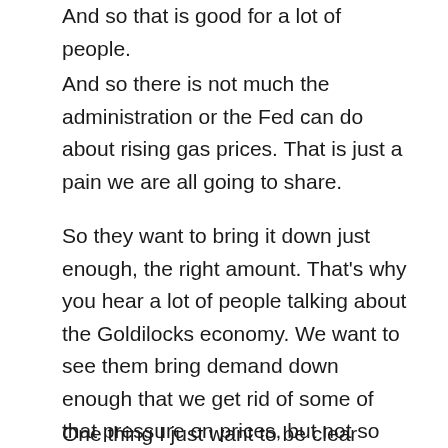And so that is good for a lot of people.
And so there is not much the administration or the Fed can do about rising gas prices. That is just a pain we are all going to share.
So they want to bring it down just enough, the right amount. That's why you hear a lot of people talking about the Goldilocks economy. We want to see them bring demand down enough that we get rid of some of that pressure on prices, but not so much that people start losing their jobs. And that could be a tough place for them to land. That is actually why they moved slowly.
One thing I just want to be clear about is that inflation